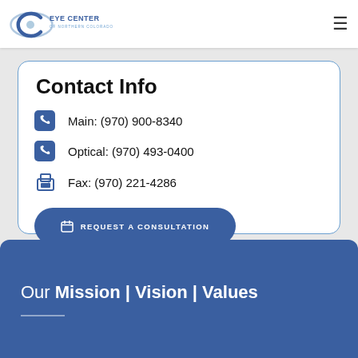Sunday: Closed
[Figure (logo): Eye Center of Northern Colorado logo with stylized C and eye]
Contact Info
Main: (970) 900-8340
Optical: (970) 493-0400
Fax: (970) 221-4286
REQUEST A CONSULTATION
DIRECTIONS
Our Mission | Vision | Values